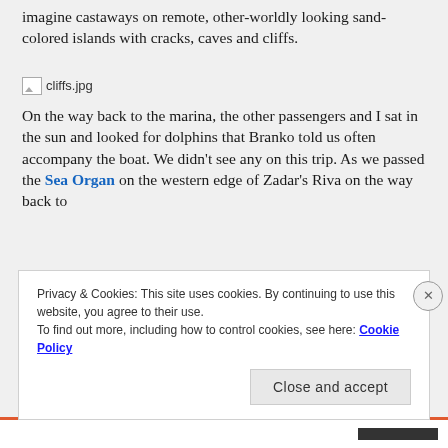imagine castaways on remote, other-worldly looking sand-colored islands with cracks, caves and cliffs.
[Figure (photo): Broken image placeholder labeled cliffs.jpg]
On the way back to the marina, the other passengers and I sat in the sun and looked for dolphins that Branko told us often accompany the boat. We didn't see any on this trip. As we passed the Sea Organ on the western edge of Zadar's Riva on the way back to
Privacy & Cookies: This site uses cookies. By continuing to use this website, you agree to their use. To find out more, including how to control cookies, see here: Cookie Policy
Close and accept